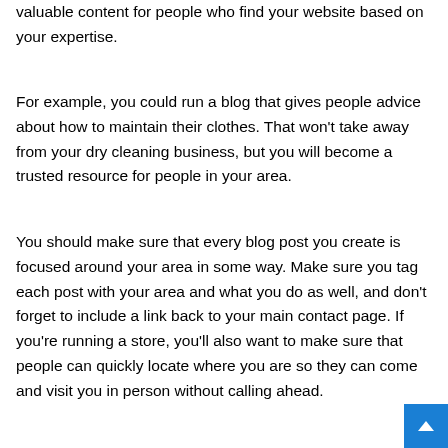valuable content for people who find your website based on your expertise.
For example, you could run a blog that gives people advice about how to maintain their clothes. That won't take away from your dry cleaning business, but you will become a trusted resource for people in your area.
You should make sure that every blog post you create is focused around your area in some way. Make sure you tag each post with your area and what you do as well, and don't forget to include a link back to your main contact page. If you're running a store, you'll also want to make sure that people can quickly locate where you are so they can come and visit you in person without calling ahead.